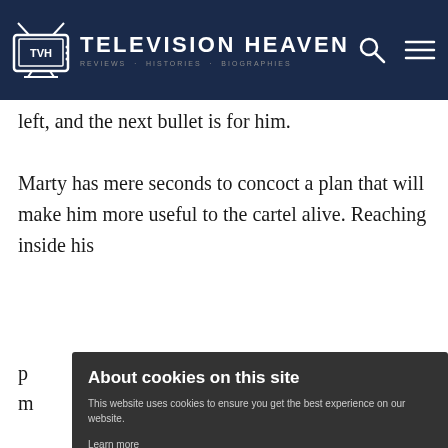Television Heaven
left, and the next bullet is for him.
Marty has mere seconds to concoct a plan that will make him more useful to the cartel alive. Reaching inside his p... m... h... h... b... t...
[Figure (screenshot): Cookie consent modal with title 'About cookies on this site', body text 'This website uses cookies to ensure you get the best experience on our website.', a 'Learn more' link, an 'Allow all cookies' yellow button, and a 'Cookie settings' white button.]